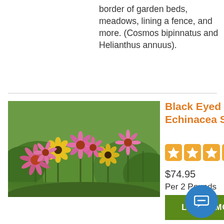border of garden beds, meadows, lining a fence, and more. (Cosmos bipinnatus and Helianthus annuus).
[Figure (photo): Photograph of pink and yellow wildflowers including Black Eyed Susans and Echinacea (Purple Coneflower) in a garden field]
Black Eyed Susan & Echinacea Seed Combo
[Figure (other): Star rating: 4 out of 5 stars (4 orange filled stars, 1 grey empty star)]
$74.95
Per 2 Pounds
LEARN MORE
The Black Eyed Susan & Purple Coneflower Seed Combo is a native duo that creates instant charm and attracts a myriad of butterflies, bees, and other pollinators to the summer garden. This versatile combination can be